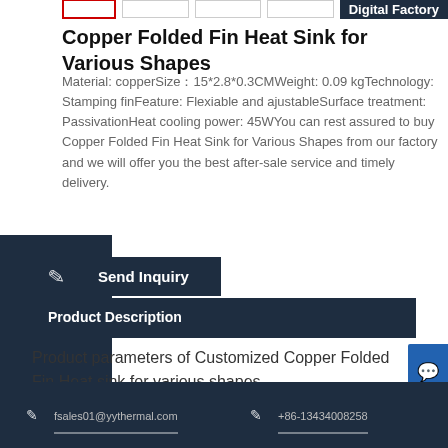Copper Folded Fin Heat Sink for Various Shapes
Material: copperSize：15*2.8*0.3CMWeight: 0.09 kgTechnology: Stamping finFeature: Flexiable and ajustableSurface treatment: PassivationHeat cooling power: 45WYou can rest assured to buy Copper Folded Fin Heat Sink for Various Shapes from our factory and we will offer you the best after-sale service and timely delivery.
Digital Factory
Send Inquiry
Product Description
Product parameters of Customized Copper Folded Fin Heat sink for various shapes
fsales01@yythermal.com
+86-13434008258